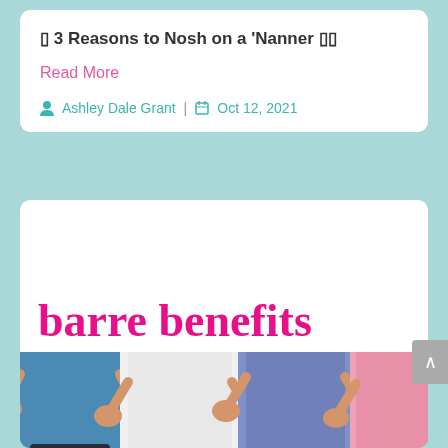🍌 3 Reasons to Nosh on a 'Nanner 🍌🍌
Read More
Ashley Dale Grant  |  Oct 12, 2021
[Figure (photo): Blog article card featuring large bold pink text 'barre benefits' above a photo of four women in workout attire doing a barre exercise, hands on hips, in a fitness studio]
Share This